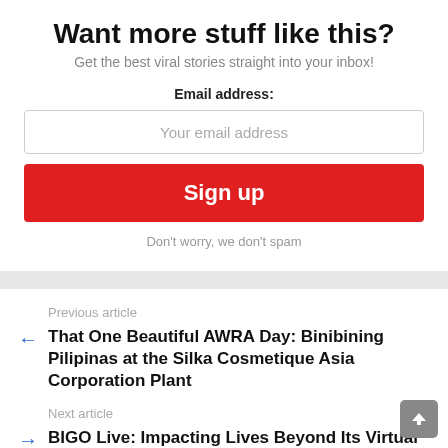Want more stuff like this?
Get the best viral stories straight into your inbox!
Email address:
Your email address
Sign up
Don't worry, we don't spam
Previous article
That One Beautiful AWRA Day: Binibining Pilipinas at the Silka Cosmetique Asia Corporation Plant
Next article
BIGO Live: Impacting Lives Beyond Its Virtual Borders, Taking Livestreamers One